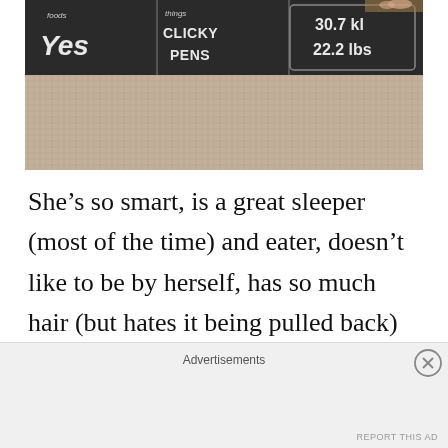[Figure (photo): Photo showing chalkboard signs at top with text 'foods YES', 'things CLICKY PENS', and '30.7 kl 22.2 lbs', over a beige/tan carpet background. A partial reflection and a person's feet visible at top right.]
She's so smart, is a great sleeper (most of the time) and eater, doesn't like to be by herself, has so much hair (but hates it being pulled back) and so many teeth, is practically
Advertisements